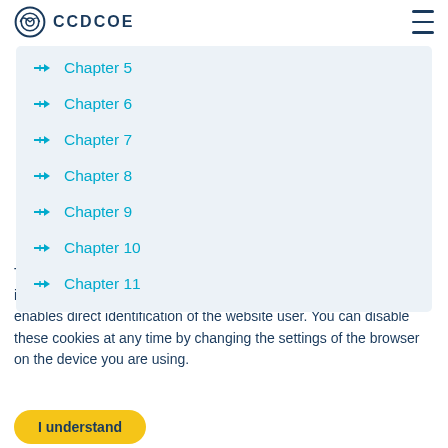CCDCOE
Chapter 5
Chapter 6
Chapter 7
Chapter 8
Chapter 9
Chapter 10
Chapter 11
This website uses cookies for analytical purposes to allow us to improve the content. These cookies do not collect information that enables direct identification of the website user. You can disable these cookies at any time by changing the settings of the browser on the device you are using.
I understand